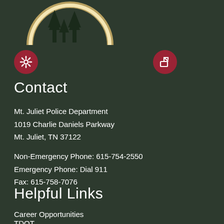[Figure (logo): Mt. Juliet city seal/logo, circular emblem with 'Incorporated 1972' text, partial view at top of page]
[Figure (other): Two red circular icon buttons: a gear/settings icon and a share/export icon]
Contact
Mt. Juliet Police Department
1019 Charlie Daniels Parkway
Mt. Juliet, TN 37122
Non-Emergency Phone: 615-754-2550
Emergency Phone: Dial 911
Fax: 615-758-7076
Helpful Links
Career Opportunities
TDOT